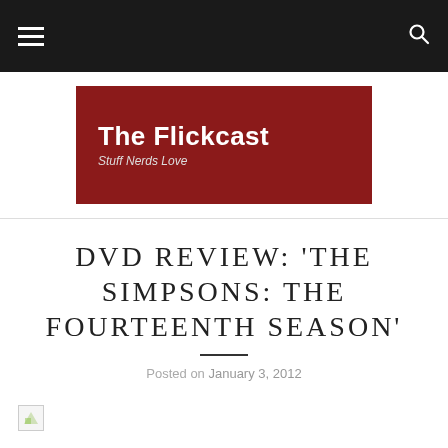The Flickcast - navigation bar with hamburger menu and search icon
[Figure (logo): The Flickcast logo banner - dark red/maroon background with white bold text 'The Flickcast' and italic subtitle 'Stuff Nerds Love']
DVD REVIEW: 'THE SIMPSONS: THE FOURTEENTH SEASON'
Posted on January 3, 2012
[Figure (photo): Broken image placeholder at the start of an article image]